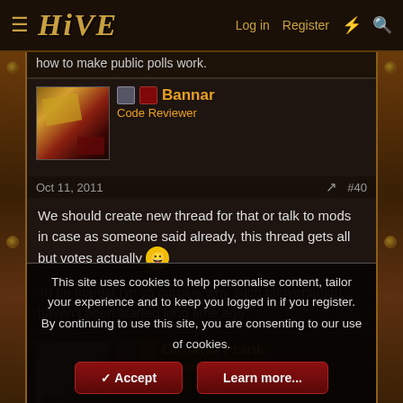HIVE | Log in | Register
how to make public polls work.
Bannar
Code Reviewer
Oct 11, 2011  #40
We should create new thread for that or talk to mods in case as someone said already, this thread gets all but votes actually 😀

To be honest I'm so curoius why such conversation haven't been started long time ago.
General Frank
Model Moderator
This site uses cookies to help personalise content, tailor your experience and to keep you logged in if you register.
By continuing to use this site, you are consenting to our use of cookies.
Accept | Learn more...